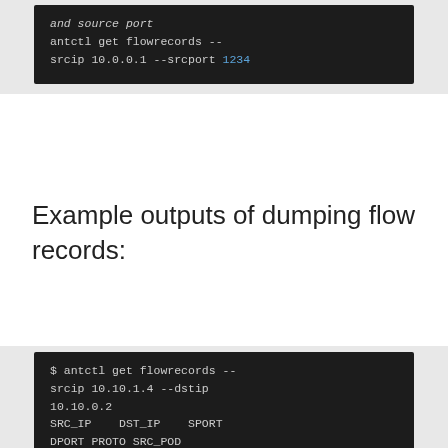[Figure (screenshot): Code block on dark background showing: italic 'and source port', then 'antctl get flowrecords --srcip 10.0.0.1 --srcport 1234' with '1234' highlighted in blue]
Example outputs of dumping flow records:
[Figure (screenshot): Code block on dark background showing: '$ antctl get flowrecords --srcip 10.10.1.4 --dstip 10.10.0.2', then column headers 'SRC_IP DST_IP SPORT DPORT PROTO SRC_POD DST_POD SRC_NS DST_NS SERVICE', then row '10.10.1.4 10.10.0.2 38581 53 17 flow-aggregator-67dc8ddfc8-zx8sg coredns-78fcd69978-7vc6k flow-aggregator kube-system kube-system/kube-dns:dns', then partial line '10.10.1.4 10.10.0.2 56505 52' with highlighted numbers in blue]